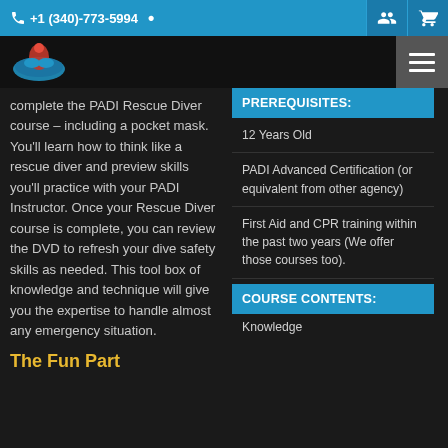+1 (340)-773-5994
complete the PADI Rescue Diver course – including a pocket mask. You'll learn how to think like a rescue diver and preview skills you'll practice with your PADI Instructor. Once your Rescue Diver course is complete, you can review the DVD to refresh your dive safety skills as needed. This tool box of knowledge and technique will give you the expertise to handle almost any emergency situation.
PREREQUISITES:
12 Years Old
PADI Advanced Certification (or equivalent from other agency)
First Aid and CPR training within the past two years (We offer those courses too).
The Fun Part
COURSE CONTENTS:
Knowledge